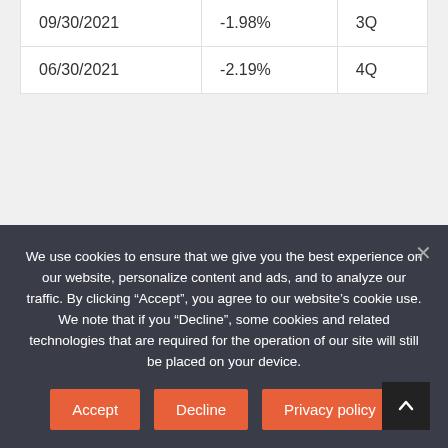| Date | Value | Period |
| --- | --- | --- |
| 09/30/2021 | -1.98% | 3Q |
| 06/30/2021 | -2.19% | 4Q |
LOAD MORE
BUYBACK ANNOUNCEMENT(S)
| Date Announced |  |
| --- | --- |
| Date Announced | 04/29/2019 (Announcement) |
We use cookies to ensure that we give you the best experience on our website, personalize content and ads, and to analyze our traffic. By clicking “Accept”, you agree to our website's cookie use. We note that if you “Decline”, some cookies and related technologies that are required for the operation of our site will still be placed on your device.